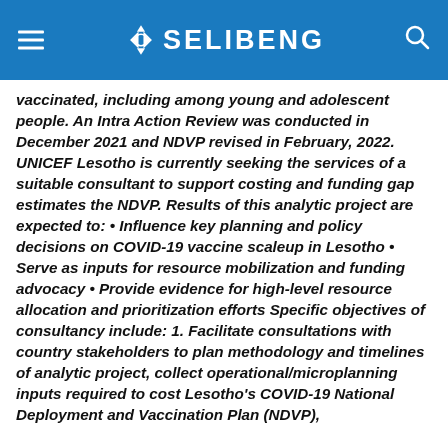SELIBENG
vaccinated, including among young and adolescent people. An Intra Action Review was conducted in December 2021 and NDVP revised in February, 2022. UNICEF Lesotho is currently seeking the services of a suitable consultant to support costing and funding gap estimates the NDVP. Results of this analytic project are expected to: • Influence key planning and policy decisions on COVID-19 vaccine scaleup in Lesotho • Serve as inputs for resource mobilization and funding advocacy • Provide evidence for high-level resource allocation and prioritization efforts Specific objectives of consultancy include: 1. Facilitate consultations with country stakeholders to plan methodology and timelines of analytic project, collect operational/microplanning inputs required to cost Lesotho's COVID-19 National Deployment and Vaccination Plan (NDVP), and validate assumptions used for the costing.